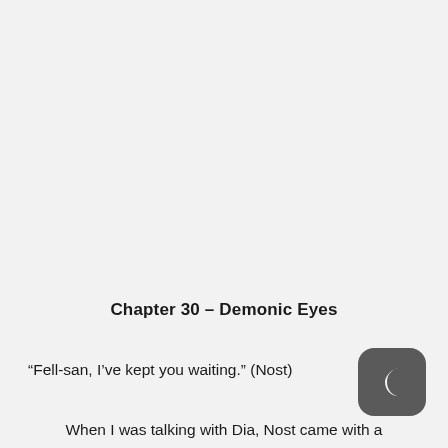Chapter 30 – Demonic Eyes
“Fell-san, I’ve kept you waiting.” (Nost)
When I was talking with Dia, Nost came with a